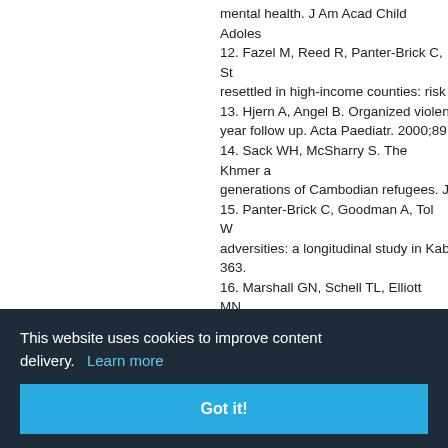mental health. J Am Acad Child Adoles 12. Fazel M, Reed R, Panter-Brick C, St resettled in high-income counties: risk 13. Hjern A, Angel B. Organized violen year follow up. Acta Paediatr. 2000;89 14. Sack WH, McSharry S. The Khmer a generations of Cambodian refugees. J 15. Panter-Brick C, Goodman A, Tol W adversities: a longitudinal study in Kab 363. 16. Marshall GN, Schell TL, Elliott MN, refugees 2 decades after resettlement 17. Ramel B, Taliemark J, Lindgren A, A ors in inpa S, Newma atry. 2012 na-Ahlbe Migratio ren and y etrators o 4. 21. Foong A, Arthur D, West S, Kornha
This website uses cookies to improve content delivery. Learn more
Got it!